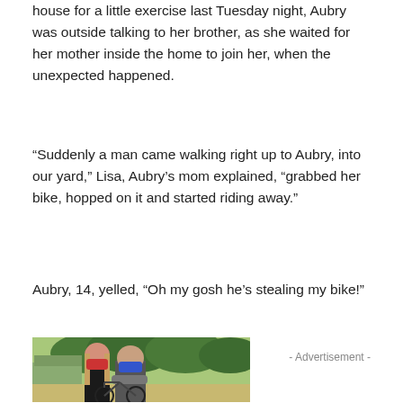house for a little exercise last Tuesday night, Aubry was outside talking to her brother, as she waited for her mother inside the home to join her, when the unexpected happened.
“Suddenly a man came walking right up to Aubry, into our yard,” Lisa, Aubry’s mom explained, “grabbed her bike, hopped on it and started riding away.”
Aubry, 14, yelled, “Oh my gosh he’s stealing my bike!”
[Figure (photo): Two teenagers standing outdoors with a bicycle. A girl with long hair wearing a red face mask and a boy with a blue face mask wearing a grey shirt with arms crossed. Trees and a building visible in the background.]
- Advertisement -